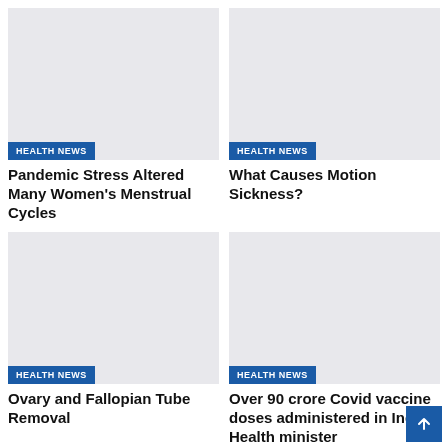[Figure (photo): Placeholder image for health news article about Pandemic Stress Altered Many Women's Menstrual Cycles]
HEALTH NEWS
Pandemic Stress Altered Many Women's Menstrual Cycles
[Figure (photo): Placeholder image for health news article about What Causes Motion Sickness?]
HEALTH NEWS
What Causes Motion Sickness?
[Figure (photo): Placeholder image for health news article about Ovary and Fallopian Tube Removal]
HEALTH NEWS
Ovary and Fallopian Tube Removal
[Figure (photo): Placeholder image for health news article about Over 90 crore Covid vaccine doses administered in India: Health minister]
HEALTH NEWS
Over 90 crore Covid vaccine doses administered in India: Health minister